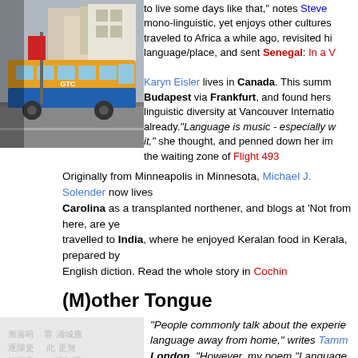[Figure (photo): Colorful bus (yellow, blue) on a street in what appears to be Senegal/Africa, with buildings in background]
to live some days like that, notes Steve [link]... mono-linguistic, yet enjoys other cultures... traveled to Africa a while ago, revisited his language/place, and sent Senegal: In a V[link]
Karyn Eisler lives in Canada. This summ... Budapest via Frankfurt, and found hers... linguistic diversity at Vancouver Internatio... already."Language is music - especially w... it," she thought, and penned down her im... the waiting zone of Flight 493
Originally from Minneapolis in Minnesota, Michael J. Solender now lives Carolina as a transplanted northener, and blogs at 'Not from here, are ye... travelled to India, where he enjoyed Keralan food in Kerala, prepared by... English diction. Read the whole story in Cochin
(M)other Tongue
[Figure (photo): Chinese characters/calligraphy with a large bold character in the foreground and smaller text in background]
"People commonly talk about the experie... language away from home," writes Tamm... London, "However, my poem "Language... is about using a second language, Englis... Hong Kong, a city where my mother ton...